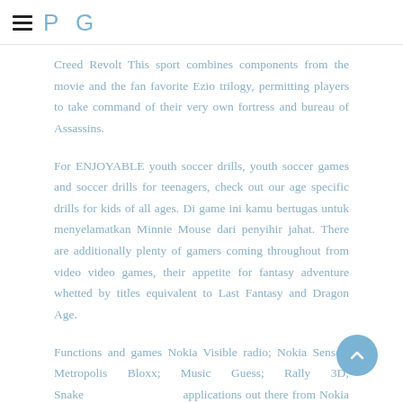P G
Creed Revolt This sport combines components from the movie and the fan favorite Ezio trilogy, permitting players to take command of their very own fortress and bureau of Assassins.
For ENJOYABLE youth soccer drills, youth soccer games and soccer drills for teenagers, check out our age specific drills for kids of all ages. Di game ini kamu bertugas untuk menyelamatkan Minnie Mouse dari penyihir jahat. There are additionally plenty of gamers coming throughout from video video games, their appetite for fantasy adventure whetted by titles equivalent to Last Fantasy and Dragon Age.
Functions and games Nokia Visible radio; Nokia Sensor; Metropolis Bloxx; Music Guess; Rally 3D; Snake applications out there from Nokia Software program Market